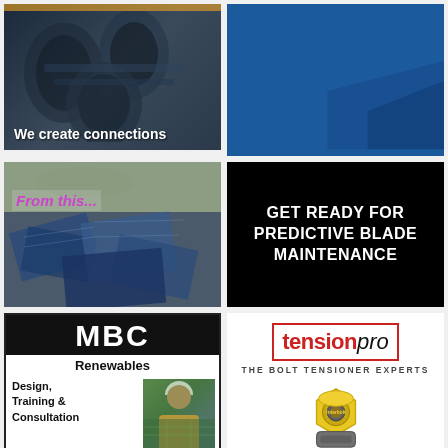[Figure (photo): Dark industrial pipe connections photo with orange bar at top and white text 'We create connections']
[Figure (infographic): Blue background with white bold text 'Calculate CO2 footprint']
[Figure (photo): Scrapped solar panels photo with purple italic text 'From this...']
[Figure (infographic): Black background with white bold text 'GET READY FOR PREDICTIVE BLADE MAINTENANCE']
[Figure (logo): MBC Renewables logo with black block letters MBC, text 'Renewables', 'Design, Training & Consultation' and photo of person with hard hat]
[Figure (logo): tensionpro logo in red border with italic text, subtitle 'THE BOLT TENSIONER EXPERTS' and yellow bolt tensioner device image]